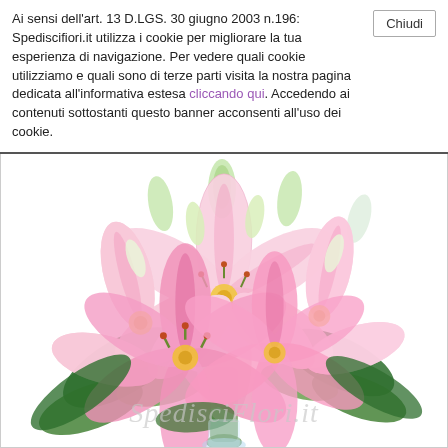Ai sensi dell'art. 13 D.LGS. 30 giugno 2003 n.196: Spediscifiori.it utilizza i cookie per migliorare la tua esperienza di navigazione. Per vedere quali cookie utilizziamo e quali sono di terze parti visita la nostra pagina dedicata all'informativa estesa cliccando qui. Accedendo ai contenuti sottostanti questo banner acconsenti all'uso dei cookie.
[Figure (photo): A bouquet of pink and white lilies with green leaves on a white background. Watermark text 'Spediscifiori.it' visible at the bottom of the image.]